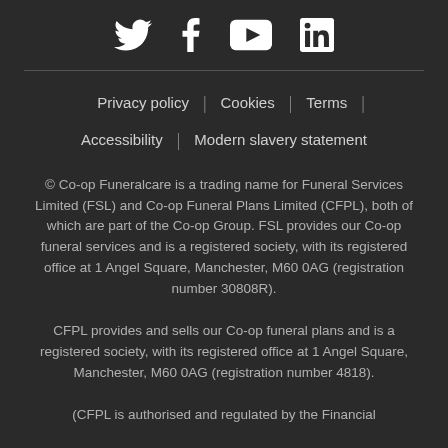[Figure (other): Social media icons: Twitter, Facebook, YouTube, LinkedIn in white on dark background]
Privacy policy | Cookies | Terms | Accessibility | Modern slavery statement
© Co-op Funeralcare is a trading name for Funeral Services Limited (FSL) and Co-op Funeral Plans Limited (CFPL), both of which are part of the Co-op Group. FSL provides our Co-op funeral services and is a registered society, with its registered office at 1 Angel Square, Manchester, M60 0AG (registration number 30808R). CFPL provides and sells our Co-op funeral plans and is a registered society, with its registered office at 1 Angel Square, Manchester, M60 0AG (registration number 4818). (CFPL is authorised and regulated by the Financial...